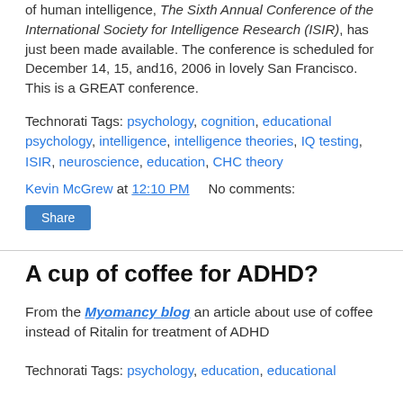of human intelligence, The Sixth Annual Conference of the International Society for Intelligence Research (ISIR), has just been made available. The conference is scheduled for December 14, 15, and16, 2006 in lovely San Francisco. This is a GREAT conference.
Technorati Tags: psychology, cognition, educational psychology, intelligence, intelligence theories, IQ testing, ISIR, neuroscience, education, CHC theory
Kevin McGrew at 12:10 PM    No comments:
Share
A cup of coffee for ADHD?
From the Myomancy blog an article about use of coffee instead of Ritalin for treatment of ADHD
Technorati Tags: psychology, education, educational